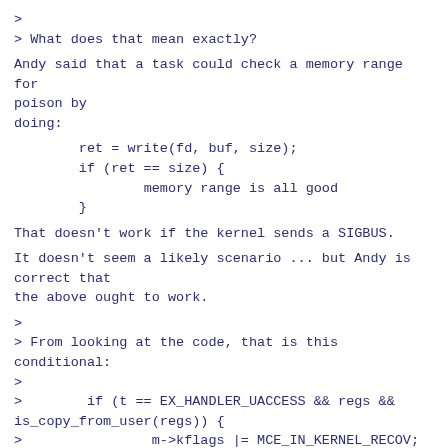>
> What does that mean exactly?
Andy said that a task could check a memory range for poison by
doing:
ret = write(fd, buf, size);
        if (ret == size) {
                memory range is all good
        }
That doesn't work if the kernel sends a SIGBUS.
It doesn't seem a likely scenario ... but Andy is correct that
the above ought to work.
>
> From looking at the code, that is this conditional:
>
>        if (t == EX_HANDLER_UACCESS && regs &&
is_copy_from_user(regs)) {
>                m->kflags |= MCE_IN_KERNEL_RECOV;
>                m->kflags |= MCE_IN_KERNEL_COPYIN;
>
> so what does the above have to do with syscall params?
Most "copy from user" instances are the result of a